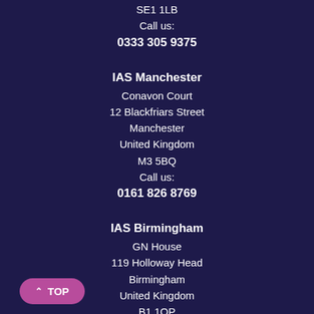SE1 1LB
Call us:
0333 305 9375
IAS Manchester
Conavon Court
12 Blackfriars Street
Manchester
United Kingdom
M3 5BQ
Call us:
0161 826 8769
IAS Birmingham
GN House
119 Holloway Head
Birmingham
United Kingdom
B1 1QP